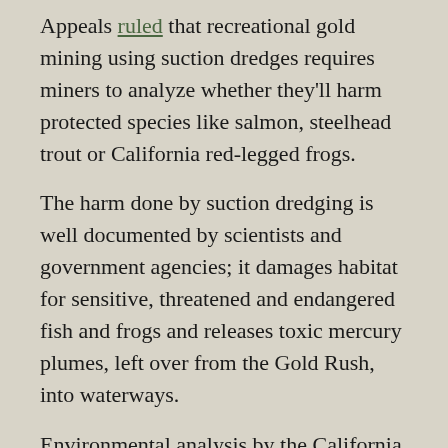Appeals ruled that recreational gold mining using suction dredges requires miners to analyze whether they'll harm protected species like salmon, steelhead trout or California red-legged frogs.
The harm done by suction dredging is well documented by scientists and government agencies; it damages habitat for sensitive, threatened and endangered fish and frogs and releases toxic mercury plumes, left over from the Gold Rush, into waterways.
Environmental analysis by the California Department of Fish and Game identified several of the impacts:
Mobilizes and discharges toxic levels of mercury, harming drinking-water